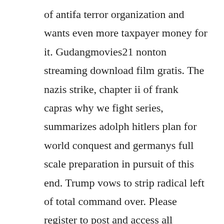of antifa terror organization and wants even more taxpayer money for it. Gudangmovies21 nonton streaming download film gratis. The nazis strike, chapter ii of frank capras why we fight series, summarizes adolph hitlers plan for world conquest and germanys full scale preparation in pursuit of this end. Trump vows to strip radical left of total command over. Please register to post and access all features of our very popular forum.
Wings is a short starring izzy gaspersz, alicia davis johnson, and garrett taylor. It stars clara